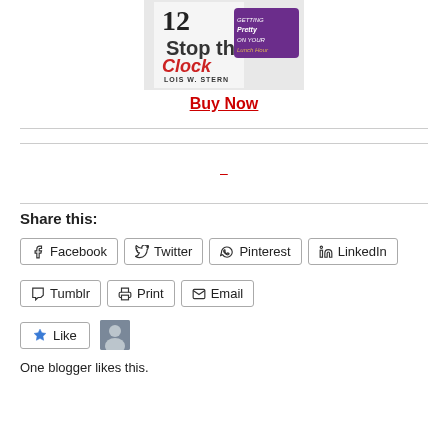[Figure (photo): Book cover for 'Stop the Clock: Getting Pretty on Your Lunch Hour' by Lois W. Stern]
Buy Now
–
Share this:
Facebook  Twitter  Pinterest  LinkedIn  Tumblr  Print  Email
Like
One blogger likes this.